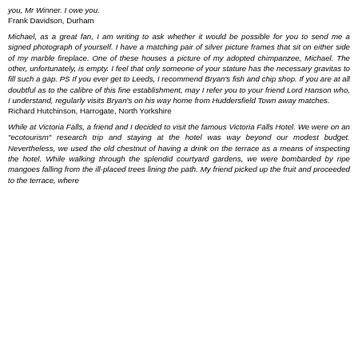you, Mr Winner. I owe you.
Frank Davidson, Durham
Michael, as a great fan, I am writing to ask whether it would be possible for you to send me a signed photograph of yourself. I have a matching pair of silver picture frames that sit on either side of my marble fireplace. One of these houses a picture of my adopted chimpanzee, Michael. The other, unfortunately, is empty. I feel that only someone of your stature has the necessary gravitas to fill such a gap. PS If you ever get to Leeds, I recommend Bryan's fish and chip shop. If you are at all doubtful as to the calibre of this fine establishment, may I refer you to your friend Lord Hanson who, I understand, regularly visits Bryan's on his way home from Huddersfield Town away matches.
Richard Hutchinson, Harrogate, North Yorkshire
While at Victoria Falls, a friend and I decided to visit the famous Victoria Falls Hotel. We were on an "ecotourism" research trip and staying at the hotel was way beyond our modest budget. Nevertheless, we used the old chestnut of having a drink on the terrace as a means of inspecting the hotel. While walking through the splendid courtyard gardens, we were bombarded by ripe mangoes falling from the ill-placed trees lining the path. My friend picked up the fruit and proceeded to the terrace, where